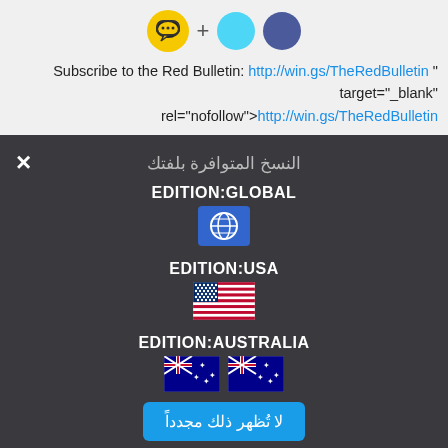[Figure (screenshot): Icons row: yellow speech bubble icon, plus sign, cyan circle, dark blue circle]
Subscribe to the Red Bulletin: http://win.gs/TheRedBulletin " target="_blank" rel="nofollow"&gt;http://win.gs/TheRedBulletin
× (close button)
النسخ المتوافرة بلفتك
EDITION:GLOBAL
[Figure (illustration): Globe icon on blue background]
EDITION:USA
[Figure (illustration): USA flag icon]
EDITION:AUSTRALIA
[Figure (illustration): Two Australia flag icons side by side]
لا تُظهر ذلك مجدداً